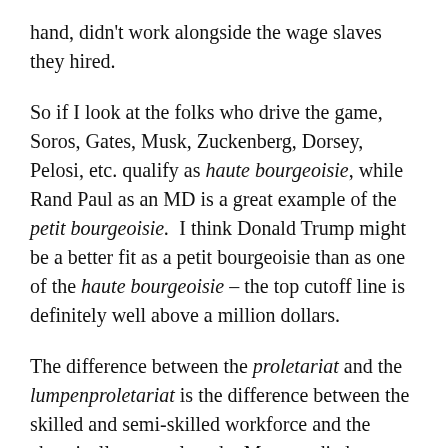hand, didn't work alongside the wage slaves they hired.
So if I look at the folks who drive the game, Soros, Gates, Musk, Zuckenberg, Dorsey, Pelosi, etc. qualify as haute bourgeoisie, while Rand Paul as an MD is a great example of the petit bourgeoisie.  I think Donald Trump might be a better fit as a petit bourgeoisie than as one of the haute bourgeoisie – the top cutoff line is definitely well above a million dollars.
The difference between the proletariat and the lumpenproletariat is the difference between the skilled and semi-skilled workforce and the chronically unemployed.   Marx studied capitalism – but, born in Prussia in 1818, lived under the late stages of feudalism instead of something more